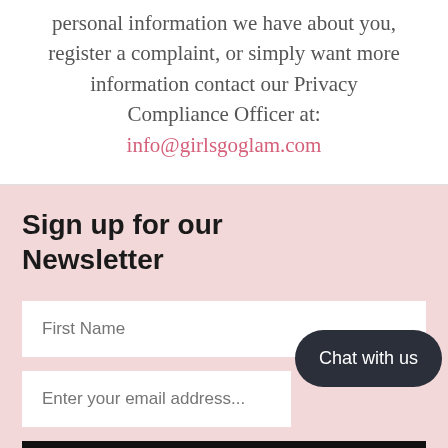personal information we have about you, register a complaint, or simply want more information contact our Privacy Compliance Officer at: info@girlsgoglam.com
Sign up for our Newsletter
First Name
Enter your email address...
Chat with us